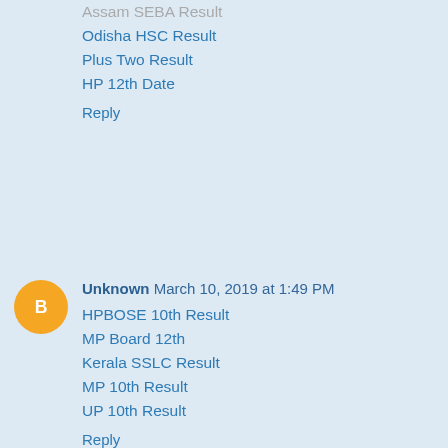Assam SEBA Result
Odisha HSC Result
Plus Two Result
HP 12th Date
Reply
Unknown  March 10, 2019 at 1:49 PM
HPBOSE 10th Result
MP Board 12th
Kerala SSLC Result
MP 10th Result
UP 10th Result
Reply
Unknown  March 10, 2019 at 1:58 PM
Madhyamik Result
UP Intermediate
10th Result 2019
PUC Result